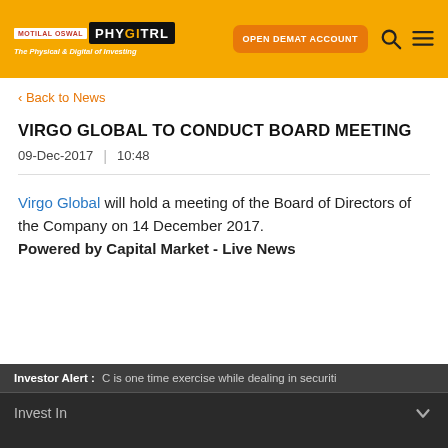Motilal Oswal PHYSITRL - OPEN DEMAT ACCOUNT
< Back to News
VIRGO GLOBAL TO CONDUCT BOARD MEETING
09-Dec-2017 | 10:48
Virgo Global will hold a meeting of the Board of Directors of the Company on 14 December 2017. Powered by Capital Market - Live News
Investor Alert : C is one time exercise while dealing in securiti | Invest In